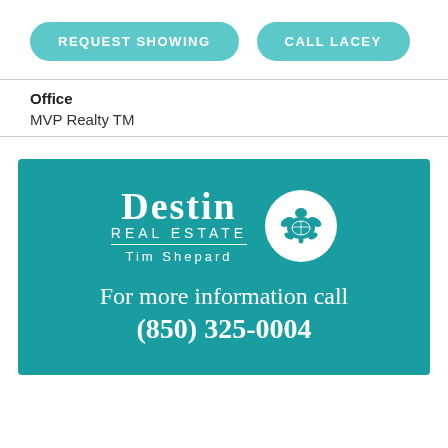REQUEST SHOWING
CALL LACEY
Office
MVP Realty TM
[Figure (logo): Destin Real Estate Tim Shepard logo with turtle icon and contact info banner: For more information call (850) 325-0004]